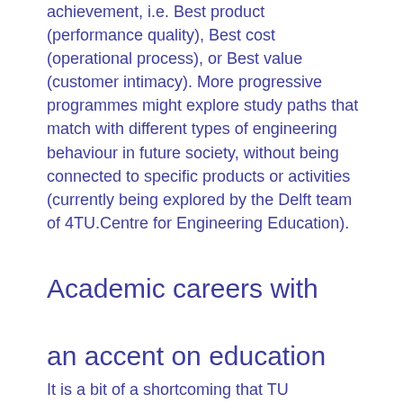achievement, i.e. Best product (performance quality), Best cost (operational process), or Best value (customer intimacy). More progressive programmes might explore study paths that match with different types of engineering behaviour in future society, without being connected to specific products or activities (currently being explored by the Delft team of 4TU.Centre for Engineering Education).
Academic careers with an accent on education
It is a bit of a shortcoming that TU